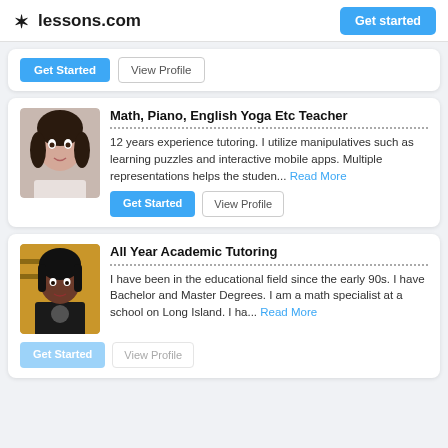lessons.com   Get started
[Figure (screenshot): Partial tutor card bottom with Get Started and View Profile buttons]
Math, Piano, English Yoga Etc Teacher
12 years experience tutoring. I utilize manipulatives such as learning puzzles and interactive mobile apps. Multiple representations helps the studen... Read More
Get Started   View Profile
All Year Academic Tutoring
I have been in the educational field since the early 90s. I have Bachelor and Master Degrees. I am a math specialist at a school on Long Island. I ha... Read More